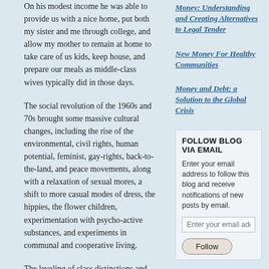On his modest income he was able to provide us with a nice home, put both my sister and me through college, and allow my mother to remain at home to take care of us kids, keep house, and prepare our meals as middle-class wives typically did in those days.
The social revolution of the 1960s and 70s brought some massive cultural changes, including the rise of the environmental, civil rights, human potential, feminist, gay-rights, back-to-the-land, and peace movements, along with a relaxation of sexual mores, a shift to more casual modes of dress, the hippies, the flower children, experimentation with psycho-active substances, and experiments in communal and cooperative living.
The leveling of class distinctions and income distribution has been one of the most...
Money: Understanding and Creating Alternatives to Legal Tender
New Money For Healthy Communities
Money and Debt: a Solution to the Global Crisis
FOLLOW BLOG VIA EMAIL
Enter your email address to follow this blog and receive notifications of new posts by email.